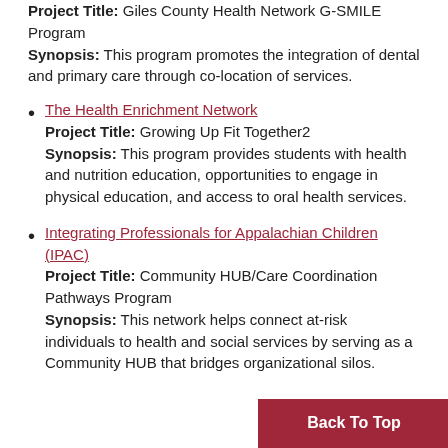Project Title: Giles County Health Network G-SMILE Program
Synopsis: This program promotes the integration of dental and primary care through co-location of services.
The Health Enrichment Network
Project Title: Growing Up Fit Together2
Synopsis: This program provides students with health and nutrition education, opportunities to engage in physical education, and access to oral health services.
Integrating Professionals for Appalachian Children (IPAC)
Project Title: Community HUB/Care Coordination Pathways Program
Synopsis: This network helps connect at-risk individuals to health and social services by serving as a Community HUB that bridges organizational silos.
Back To Top